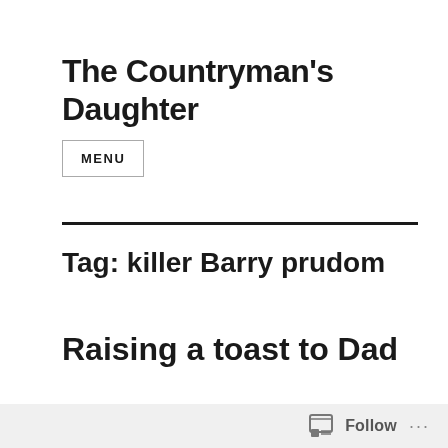The Countryman's Daughter
MENU
Tag: killer Barry prudom
Raising a toast to Dad
(This column appeared in the Darlington &